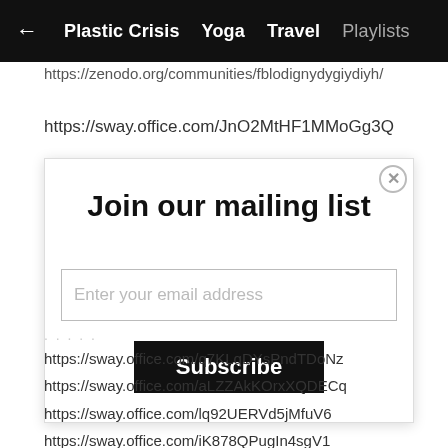← Plastic Crisis  Yoga  Travel  Playlists
https://zenodo.org/communities/fblodignydygiydiyh/
https://sway.office.com/JnO2MtHF1MMoGg3Q
Join our mailing list
Enter your email address
Subscribe
https://sway.office.com/q7KLqDYsPndTDoNz
https://sway.office.com/aLZZAkKOrxXQDECq
https://sway.office.com/lq92UERVd5jMfuV6
https://sway.office.com/iK878QPugIn4sgV1